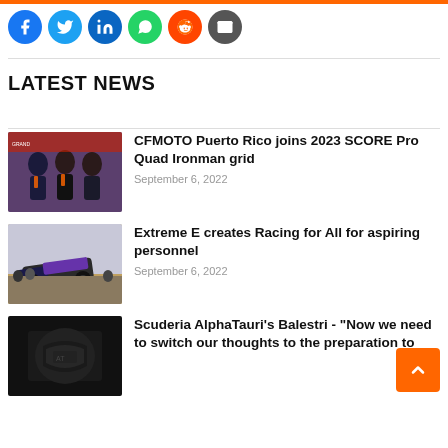[Figure (infographic): Social share icons row: Facebook (blue), Twitter (light blue), LinkedIn (dark blue), WhatsApp (green), Reddit (orange-red), Email (dark grey)]
LATEST NEWS
[Figure (photo): Photo of group of people in racing team gear at CFMOTO event]
CFMOTO Puerto Rico joins 2023 SCORE Pro Quad Ironman grid
September 6, 2022
[Figure (photo): Photo of a crashed/damaged off-road race vehicle on dirt track]
Extreme E creates Racing for All for aspiring personnel
September 6, 2022
[Figure (photo): Dark photo showing a racing car or helmet close-up]
Scuderia AlphaTauri's Balestri - "Now we need to switch our thoughts to the preparation to